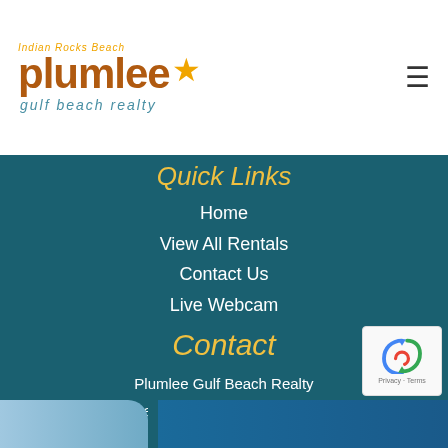[Figure (logo): Plumlee Gulf Beach Realty logo with star icon]
Quick Links
Home
View All Rentals
Contact Us
Live Webcam
Contact
Plumlee Gulf Beach Realty
417 1st Street, Indian Rocks Beach, FL 33785
Local: 727-595-7586
[Figure (infographic): Social media icons: Facebook, Instagram, Pinterest, YouTube]
[Figure (other): reCAPTCHA badge with Privacy and Terms links]